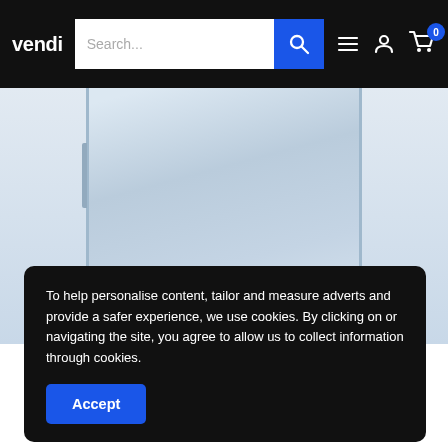vendi | Search... | navigation icons | cart 0
[Figure (photo): Back panel of a smartphone in light blue/silver color with a side button visible, shown against a light blue-grey background.]
To help personalise content, tailor and measure adverts and provide a safer experience, we use cookies. By clicking on or navigating the site, you agree to allow us to collect information through cookies.
Accept